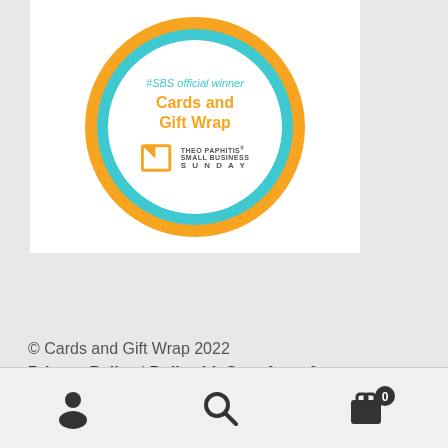[Figure (logo): Theo Paphitis Small Business Sunday #SBS official winner badge for Cards and Gift Wrap — circular badge with orange outer ring, teal middle ring, white center containing winner text and SBS logo]
© Cards and Gift Wrap 2022
Privacy Policy | Built with Storefront & WooCommerce.
[Figure (infographic): Bottom navigation bar with person/account icon, search icon, and shopping cart icon with badge showing 0]